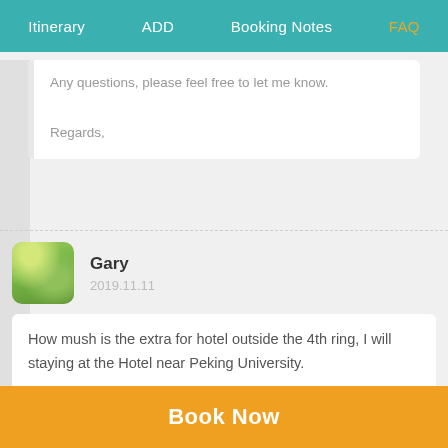Itinerary  ADD  Booking Notes  FAQ
Any questions, please feel free to let me know.

Regards,
Gary
2019.11.11
How mush is the extra for hotel outside the 4th ring, I will staying at the Hotel near Peking University.
Hello Gray,
Book Now